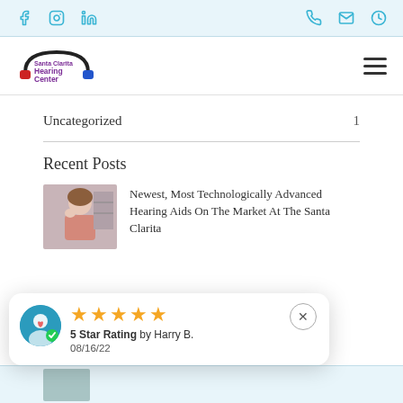Social media icons: Facebook, Instagram, LinkedIn | Phone, Mail, Clock icons
[Figure (logo): Santa Clarita Hearing Center logo with headphones graphic and hamburger menu icon]
Uncategorized    1
Recent Posts
[Figure (photo): Woman holding her ear, possibly experiencing hearing difficulties, in a pink top]
Newest, Most Technologically Advanced Hearing Aids On The Market At The Santa Clarita
[Figure (infographic): Review popup showing 5 Star Rating by Harry B. on 08/16/22 with avatar icon and close button]